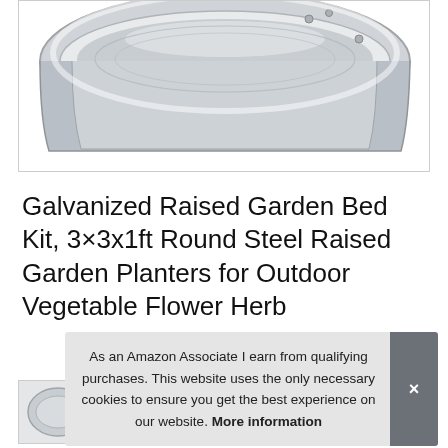[Figure (photo): Partial view of a galvanized steel circular raised garden bed, showing the top rim and side, on a white background]
Galvanized Raised Garden Bed Kit, 3×3x1ft Round Steel Raised Garden Planters for Outdoor Vegetable Flower Herb
#ad
As an Amazon Associate I earn from qualifying purchases. This website uses the only necessary cookies to ensure you get the best experience on our website. More information